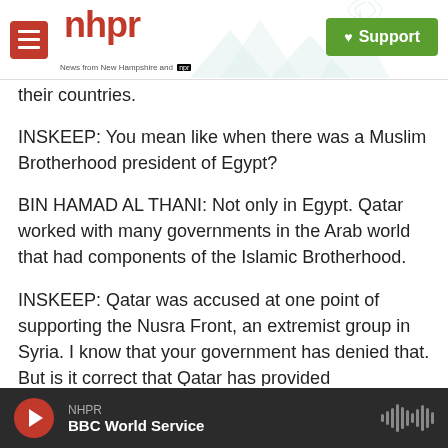nhpr – News from New Hampshire and NPR – Support
their countries.
INSKEEP: You mean like when there was a Muslim Brotherhood president of Egypt?
BIN HAMAD AL THANI: Not only in Egypt. Qatar worked with many governments in the Arab world that had components of the Islamic Brotherhood.
INSKEEP: Qatar was accused at one point of supporting the Nusra Front, an extremist group in Syria. I know that your government has denied that. But is it correct that Qatar has provided
NHPR – BBC World Service